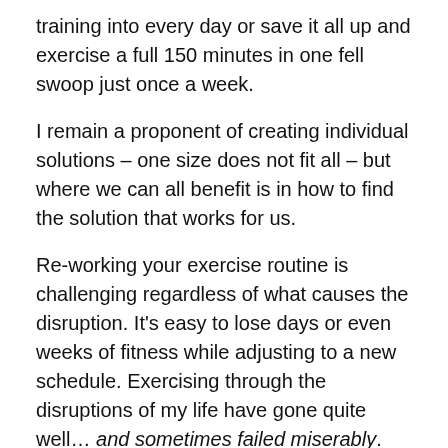training into every day or save it all up and exercise a full 150 minutes in one fell swoop just once a week.
I remain a proponent of creating individual solutions – one size does not fit all – but where we can all benefit is in how to find the solution that works for us.
Re-working your exercise routine is challenging regardless of what causes the disruption. It's easy to lose days or even weeks of fitness while adjusting to a new schedule. Exercising through the disruptions of my life have gone quite well… and sometimes failed miserably. There's no guarantee you can survive every one, but the odds seem to increase when you follow a few simple guidelines.
Make a p